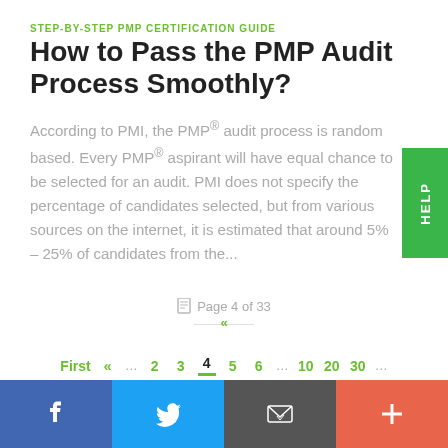STEP-BY-STEP PMP CERTIFICATION GUIDE
How to Pass the PMP Audit Process Smoothly?
According to PMI, the PMP® audit process is random based. Every PMP® aspirant will have equal chance to be selected for an audit. PMI does not specify the percentage of candidates selected, but from various sources on the internet, it is estimated that around 5% – 25% of candidates from the...
Page 4 of 33